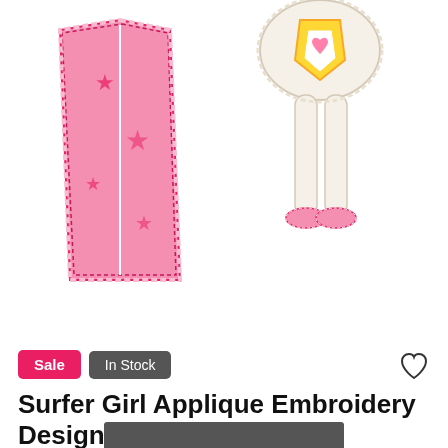[Figure (photo): Product image showing two embroidery applique pieces: a pink surfboard with stars and a surfer girl lower body with pink shoes on a white background]
Sale  In Stock
Surfer Girl Applique Embroidery Design
★★★★★ 1 review | No questions
$3.49  $1.99